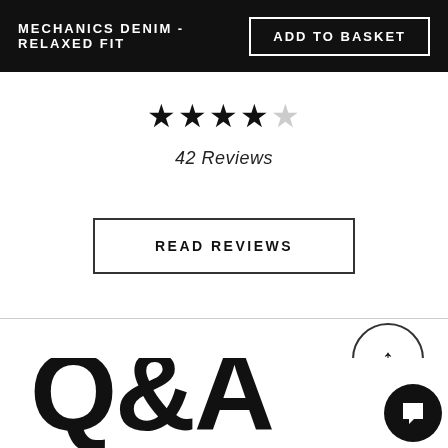MECHANICS DENIM - RELAXED FIT
ADD TO BASKET
[Figure (other): 4 out of 5 stars rating display — four filled black stars and one empty/grey star]
42 Reviews
READ REVIEWS
[Figure (other): Circular scroll-to-top button with upward arrow icon]
Q&A
[Figure (other): Chat bubble icon button in circular black background, bottom right corner]